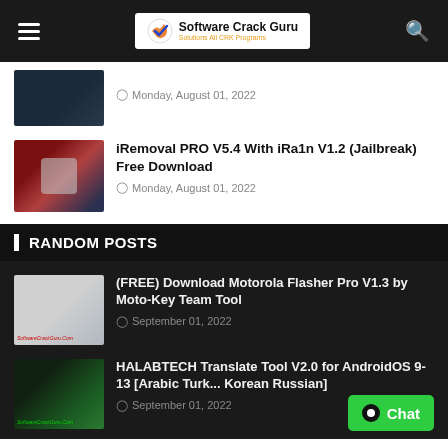Software Crack Guru – Solutions All CRK Programs
Monday, August 01, 2022
iRemoval PRO V5.4 With iRa1n V1.2 (Jailbreak) Free Download
Monday, August 01, 2022
RANDOM POSTS
(FREE) Download Motorola Flasher Pro V1.3 by Moto-Key Team Tool
September 01, 2022
HALABTECH Translate Tool V2.0 for AndroidOS 9-13 [Arabic Turk... Korean Russian]
September 01, 2022